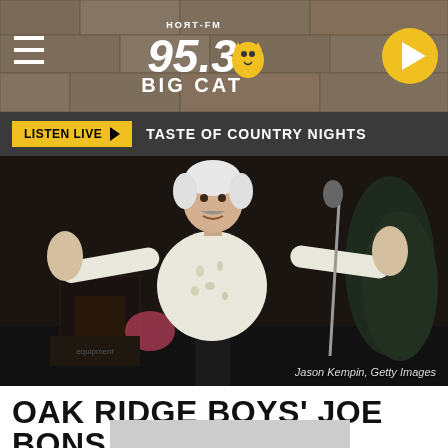[Figure (screenshot): Website header for НОЯТ-FM 95.3 BIG CAT radio station with hamburger menu icon on left, station logo in center, and circular play button on right, over a stone/brick textured background]
LISTEN LIVE ▶   TASTE OF COUNTRY NIGHTS
[Figure (photo): Man with white hair and mustache performing on stage with arms spread wide, wearing a white floral shirt, standing in front of a microphone. Credit: Jason Kempin, Getty Images]
Jason Kempin, Getty Images
OAK RIDGE BOYS' JOE BONSALL THA_______________AS